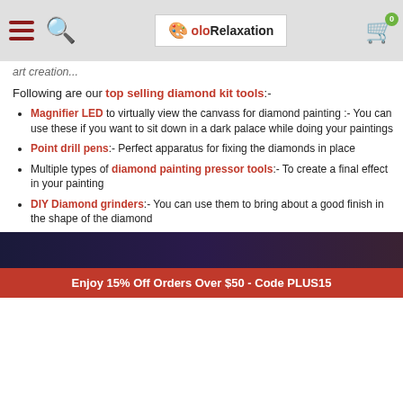ColorRelaxation header with navigation
art creation...
Following are our top selling diamond kit tools:-
Magnifier LED to virtually view the canvass for diamond painting :- You can use these if you want to sit down in a dark palace while doing your paintings
Point drill pens:- Perfect apparatus for fixing the diamonds in place
Multiple types of diamond painting pressor tools:- To create a final effect in your painting
DIY Diamond grinders:- You can use them to bring about a good finish in the shape of the diamond
[Figure (photo): Dark decorative image bar at bottom of content area]
Enjoy 15% Off Orders Over $50 - Code PLUS15